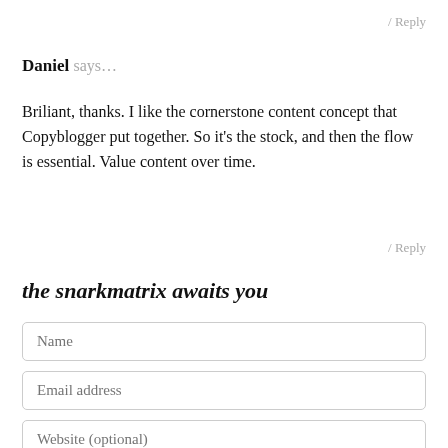/ Reply
Daniel says...
Briliant, thanks. I like the cornerstone content concept that Copyblogger put together. So it's the stock, and then the flow is essential. Value content over time.
/ Reply
the snarkmatrix awaits you
Name
Email address
Website (optional)